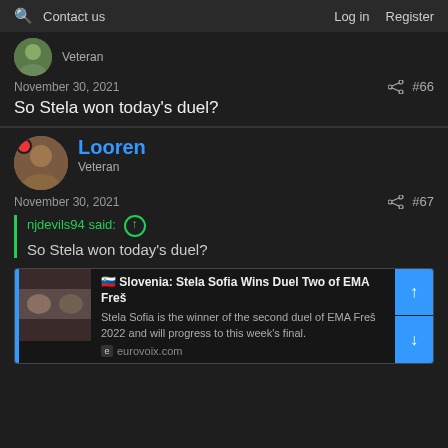Contact us   Log in   Register
Veteran
November 30, 2021  #66
So Stela won today's duel?
Looren
Veteran
November 30, 2021  #67
njdevils94 said:
So Stela won today's duel?
[Figure (screenshot): Link card showing: 🇸🇮 Slovenia: Stela Sofia Wins Duel Two of EMA Freš 2022 - thumbnail image of performers - description text 'Stela Sofia is the winner of the second duel of EMA Freš 2022 and will progress to this week's final.' - source: eurovoix.com - with blue up/down arrow buttons on right]